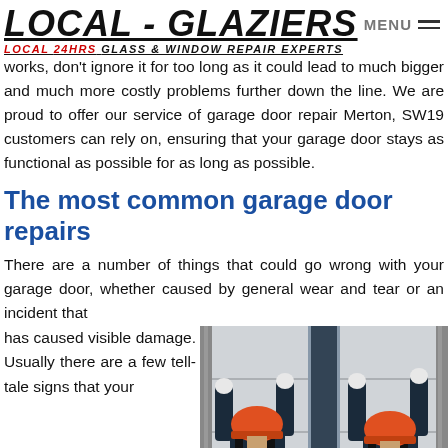LOCAL - GLAZIERS LOCAL 24HRS GLASS & WINDOW REPAIR EXPERTS
works, don't ignore it for too long as it could lead to much bigger and much more costly problems further down the line. We are proud to offer our service of garage door repair Merton, SW19 customers can rely on, ensuring that your garage door stays as functional as possible for as long as possible.
The most common garage door repairs
There are a number of things that could go wrong with your garage door, whether caused by general wear and tear or an incident that has caused visible damage. Usually there are a few tell-tale signs that your
[Figure (photo): Two workers in orange hard hats and dark work clothes installing or repairing a large white sectional garage door. They are shown from behind, reaching up to work on the door panels inside what appears to be a garage opening.]